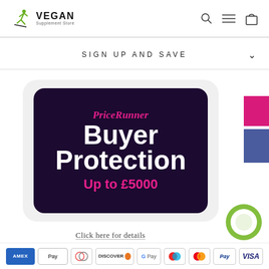[Figure (logo): Vegan Supplement Store logo with running figure icon and text]
SIGN UP AND SAVE
[Figure (illustration): PriceRunner Buyer Protection badge — dark rounded rectangle with pink PriceRunner text, white Buyer Protection text, and pink Up to £5000 text]
Click here for details
[Figure (other): Payment method icons: AMEX, Apple Pay, Diners, Discover, Google Pay, Maestro, Mastercard, PayPal, Visa]